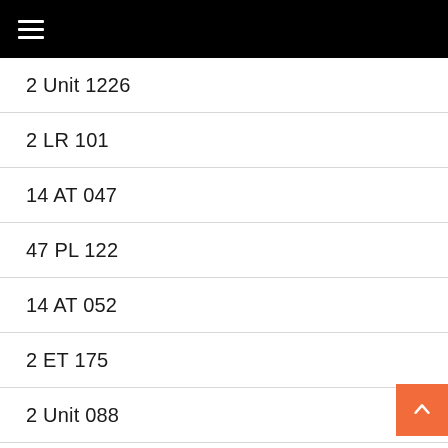☰
2 Unit 1226
2 LR 101
14 AT 047
47 PL 122
14 AT 052
2 ET 175
2 Unit 088
14 AT 277